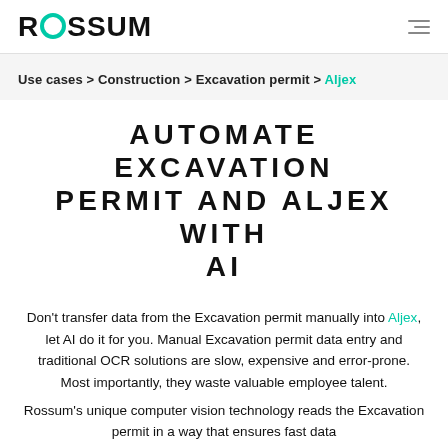ROSSUM
Use cases > Construction > Excavation permit > Aljex
AUTOMATE EXCAVATION PERMIT AND ALJEX WITH AI
Don't transfer data from the Excavation permit manually into Aljex, let AI do it for you. Manual Excavation permit data entry and traditional OCR solutions are slow, expensive and error-prone. Most importantly, they waste valuable employee talent.
Rossum's unique computer vision technology reads the Excavation permit in a way that ensures fast data